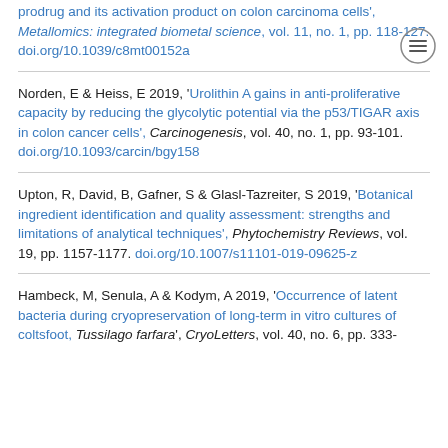prodrug and its activation product on colon carcinoma cells', Metallomics: integrated biometal science, vol. 11, no. 1, pp. 118-127. doi.org/10.1039/c8mt00152a
Norden, E & Heiss, E 2019, 'Urolithin A gains in anti-proliferative capacity by reducing the glycolytic potential via the p53/TIGAR axis in colon cancer cells', Carcinogenesis, vol. 40, no. 1, pp. 93-101. doi.org/10.1093/carcin/bgy158
Upton, R, David, B, Gafner, S & Glasl-Tazreiter, S 2019, 'Botanical ingredient identification and quality assessment: strengths and limitations of analytical techniques', Phytochemistry Reviews, vol. 19, pp. 1157-1177. doi.org/10.1007/s11101-019-09625-z
Hambeck, M, Senula, A & Kodym, A 2019, 'Occurrence of latent bacteria during cryopreservation of long-term in vitro cultures of coltsfoot, Tussilago farfara', CryoLetters, vol. 40, no. 6, pp. 333-